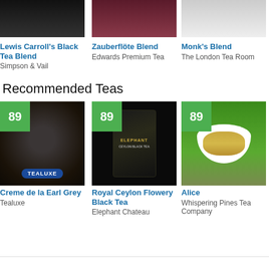[Figure (photo): Top section showing three tea product images in a row]
Lewis Carroll's Black Tea Blend
Simpson & Vail
Zauberflöte Blend
Edwards Premium Tea
Monk's Blend
The London Tea Room
Recommended Teas
[Figure (photo): Creme de la Earl Grey tea product image with score badge 89, Tealuxe brand, loose tea in bowl with Tealuxe logo]
Creme de la Earl Grey
Tealuxe
[Figure (photo): Royal Ceylon Flowery Black Tea product image with score badge 89, Elephant Chateau brand, black bag packaging]
Royal Ceylon Flowery Black Tea
Elephant Chateau
[Figure (photo): Alice tea product image with score badge 89, Whispering Pines Tea Company, tea in white bowl on wooden surface]
Alice
Whispering Pines Tea Company